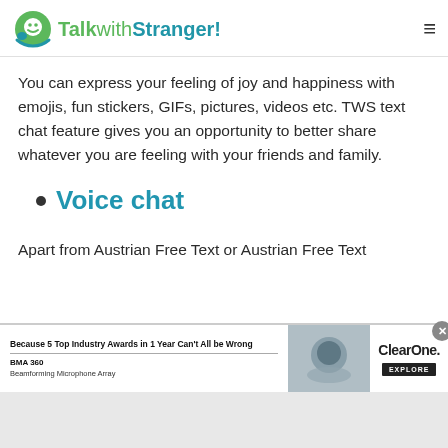TalkwithStranger!
You can express your feeling of joy and happiness with emojis, fun stickers, GIFs, pictures, videos etc. TWS text chat feature gives you an opportunity to better share whatever you are feeling with your friends and family.
Voice chat
Apart from Austrian Free Text or Austrian Free Text
[Figure (screenshot): Advertisement banner: Because 5 Top Industry Awards in 1 Year Can't All be Wrong — BMA 360 Beamforming Microphone Array — ClearOne. EXPLORE]